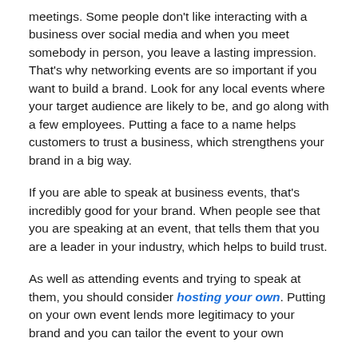meetings. Some people don't like interacting with a business over social media and when you meet somebody in person, you leave a lasting impression. That's why networking events are so important if you want to build a brand. Look for any local events where your target audience are likely to be, and go along with a few employees. Putting a face to a name helps customers to trust a business, which strengthens your brand in a big way.
If you are able to speak at business events, that's incredibly good for your brand. When people see that you are speaking at an event, that tells them that you are a leader in your industry, which helps to build trust.
As well as attending events and trying to speak at them, you should consider hosting your own. Putting on your own event lends more legitimacy to your brand and you can tailor the event to your own